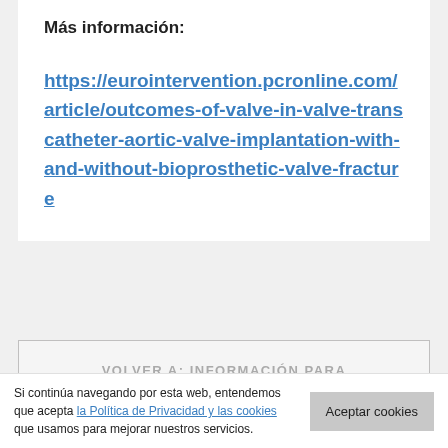Más información:
https://eurointervention.pcronline.com/article/outcomes-of-valve-in-valve-transcatheter-aortic-valve-implantation-with-and-without-bioprosthetic-valve-fracture
VOLVER A: INFORMACIÓN PARA PROFESIONALES DE LA SALUD
Si continúa navegando por esta web, entendemos que acepta la Política de Privacidad y las cookies que usamos para mejorar nuestros servicios.